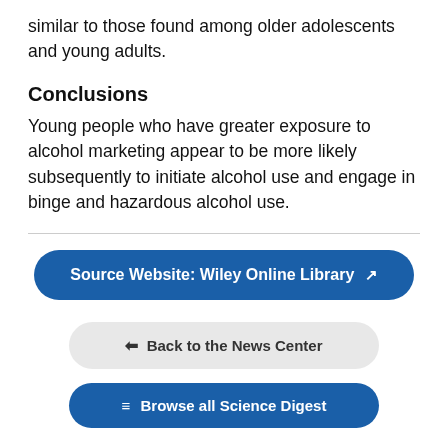similar to those found among older adolescents and young adults.
Conclusions
Young people who have greater exposure to alcohol marketing appear to be more likely subsequently to initiate alcohol use and engage in binge and hazardous alcohol use.
Source Website: Wiley Online Library ↗
← Back to the News Center
▤ Browse all Science Digest